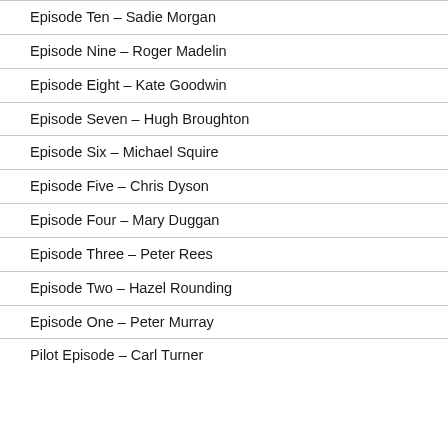Episode Ten – Sadie Morgan
Episode Nine – Roger Madelin
Episode Eight – Kate Goodwin
Episode Seven – Hugh Broughton
Episode Six – Michael Squire
Episode Five – Chris Dyson
Episode Four – Mary Duggan
Episode Three – Peter Rees
Episode Two – Hazel Rounding
Episode One – Peter Murray
Pilot Episode – Carl Turner